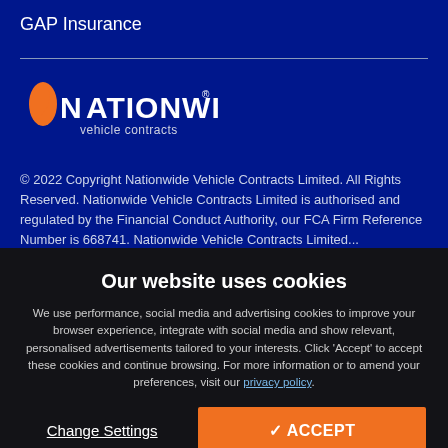GAP Insurance
[Figure (logo): Nationwide Vehicle Contracts logo — white and orange text with UK map silhouette in orange]
© 2022 Copyright Nationwide Vehicle Contracts Limited. All Rights Reserved. Nationwide Vehicle Contracts Limited is authorised and regulated by the Financial Conduct Authority, our FCA Firm Reference Number is 668741. Nationwide Vehicle Contracts Limited...
Our website uses cookies
We use performance, social media and advertising cookies to improve your browser experience, integrate with social media and show relevant, personalised advertisements tailored to your interests. Click 'Accept' to accept these cookies and continue browsing. For more information or to amend your preferences, visit our privacy policy.
Change Settings
✓ ACCEPT